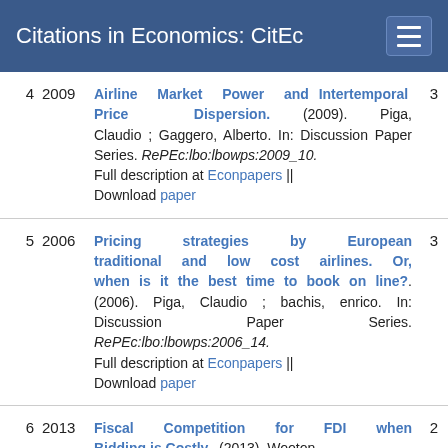Citations in Economics: CitEc
4  2009  Airline Market Power and Intertemporal Price Dispersion. (2009). Piga, Claudio ; Gaggero, Alberto. In: Discussion Paper Series. RePEc:lbo:lbowps:2009_10. Full description at Econpapers || Download paper  3
5  2006  Pricing strategies by European traditional and low cost airlines. Or, when is it the best time to book on line?. (2006). Piga, Claudio ; bachis, enrico. In: Discussion Paper Series. RePEc:lbo:lbowps:2006_14. Full description at Econpapers || Download paper  3
6  2013  Fiscal Competition for FDI when Bidding is Costly.. (2013). Wooton,  2